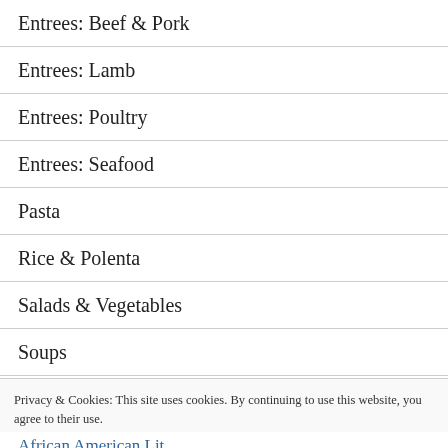Entrees: Beef & Pork
Entrees: Lamb
Entrees: Poultry
Entrees: Seafood
Pasta
Rice & Polenta
Salads & Vegetables
Soups
Sweets & Desserts
Privacy & Cookies: This site uses cookies. By continuing to use this website, you agree to their use.
To find out more, including how to control cookies, see here: Cookie Policy
Close and accept
African American Lit